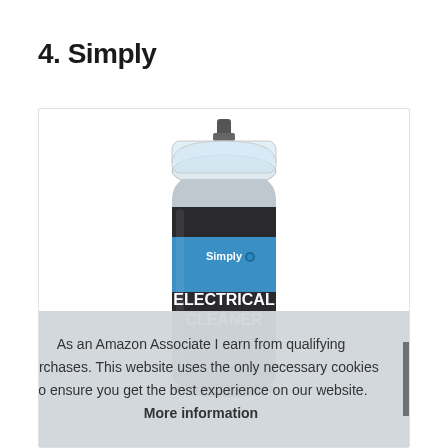4. Simply
[Figure (photo): A spray can of Simply brand Electrical Cleaner product. The can has a black body with a blue label reading 'Simply' with a logo, and white bold text 'ELECTRICAL CLEANER'. The can has a clear plastic cap/nozzle at the top.]
As an Amazon Associate I earn from qualifying purchases. This website uses the only necessary cookies to ensure you get the best experience on our website. More information